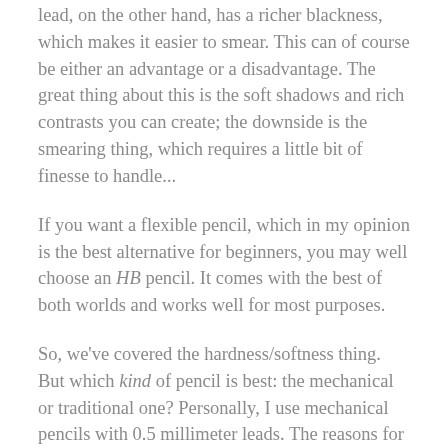lead, on the other hand, has a richer blackness, which makes it easier to smear. This can of course be either an advantage or a disadvantage. The great thing about this is the soft shadows and rich contrasts you can create; the downside is the smearing thing, which requires a little bit of finesse to handle...
If you want a flexible pencil, which in my opinion is the best alternative for beginners, you may well choose an HB pencil. It comes with the best of both worlds and works well for most purposes.
So, we've covered the hardness/softness thing. But which kind of pencil is best: the mechanical or traditional one? Personally, I use mechanical pencils with 0.5 millimeter leads. The reasons for this are: 1) draw in a certain style that sometimes demands fine lines and high precision, 2) I stick to the HB leads. In addition, I think it is convenient not having to constantly sharpen a pencil. If you want to